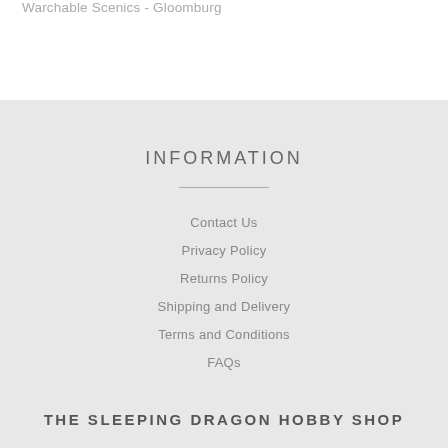Warchable Scenics - Gloomburg
INFORMATION
Contact Us
Privacy Policy
Returns Policy
Shipping and Delivery
Terms and Conditions
FAQs
THE SLEEPING DRAGON HOBBY SHOP